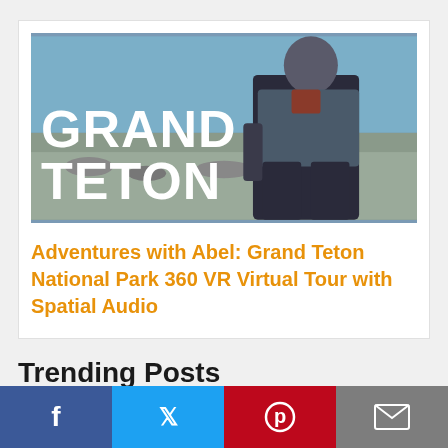[Figure (photo): Photo of person at rocky lakeshore with text overlay reading GRAND TETON in large white bold letters]
Adventures with Abel: Grand Teton National Park 360 VR Virtual Tour with Spatial Audio
Trending Posts
[Figure (infographic): Social share bar with four buttons: Facebook (blue), Twitter (light blue), Pinterest (red), Email (grey)]